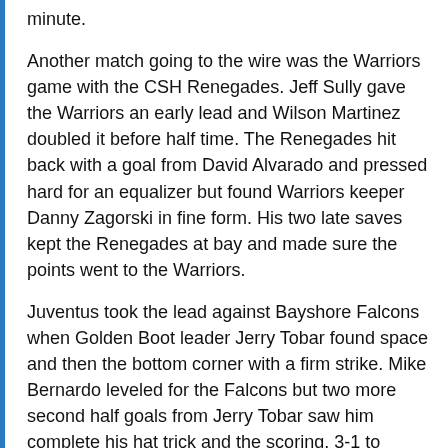minute.
Another match going to the wire was the Warriors game with the CSH Renegades. Jeff Sully gave the Warriors an early lead and Wilson Martinez doubled it before half time. The Renegades hit back with a goal from David Alvarado and pressed hard for an equalizer but found Warriors keeper Danny Zagorski in fine form. His two late saves kept the Renegades at bay and made sure the points went to the Warriors.
Juventus took the lead against Bayshore Falcons when Golden Boot leader Jerry Tobar found space and then the bottom corner with a firm strike. Mike Bernardo leveled for the Falcons but two more second half goals from Jerry Tobar saw him complete his hat trick and the scoring, 3-1 to Juventus. The Warriors then found their scoring touch and it was the Falcons who suffered losing 6-2 in the final game of the day. Nick Tonks and Max Karen were on target twice for the Warriors with Mike Bernardo replying twice for the Falcons.
That win moved the Warriors back to the top of the table one point ahead of Juventus.